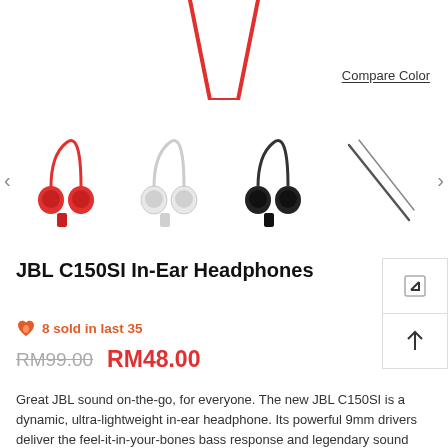[Figure (photo): Top portion of red JBL in-ear headphones with red cable visible against white background]
Compare Color
[Figure (photo): Carousel of JBL C150SI earphone color variants: red, white, black, and a detail/cable view, with left and right navigation arrows]
JBL C150SI In-Ear Headphones
8 sold in last 35
RM99.00  RM48.00
Great JBL sound on-the-go, for everyone. The new JBL C150SI is a dynamic, ultra-lightweight in-ear headphone. Its powerful 9mm drivers deliver the feel-it-in-your-bones bass response and legendary sound quality you expect from JBL. They're feather-light for all-day comfort. An in-line microphone with universal remote